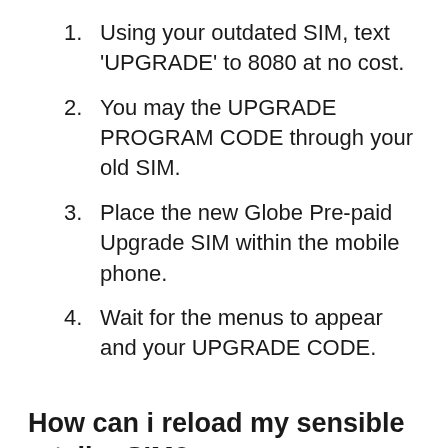Using your outdated SIM, text 'UPGRADE' to 8080 at no cost.
You may the UPGRADE PROGRAM CODE through your old SIM.
Place the new Globe Pre-paid Upgrade SIM within the mobile phone.
Wait for the menus to appear and your UPGRADE CODE.
How can i reload my sensible retailer SIM?
Purchase a call plus text card (CTC) or TicketLoad in stores and suppliers. Lightly